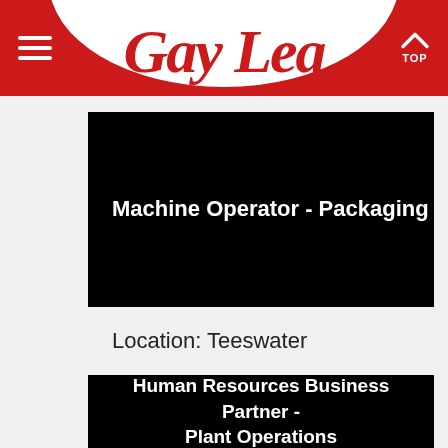Gay Lea
Machine Operator - Packaging
Location: Teeswater
Human Resources Business Partner - Plant Operations